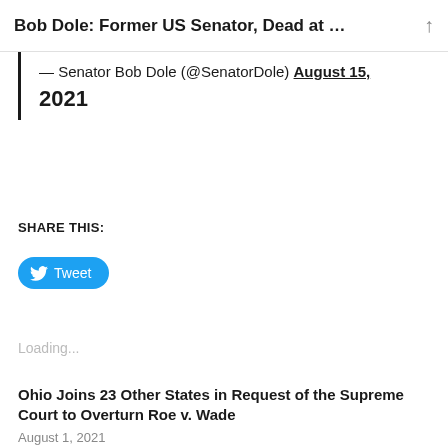Bob Dole: Former US Senator, Dead at …
— Senator Bob Dole (@SenatorDole) August 15, 2021
SHARE THIS:
[Figure (other): Twitter Tweet button with bird logo]
Loading...
Ohio Joins 23 Other States in Request of the Supreme Court to Overturn Roe v. Wade
August 1, 2021
In "Controversial"